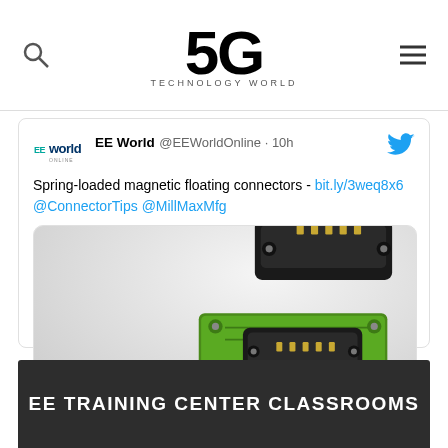5G TECHNOLOGY WORLD
[Figure (screenshot): Embedded tweet from @EEWorldOnline showing spring-loaded magnetic floating connectors with product photo]
EE TRAINING CENTER CLASSROOMS